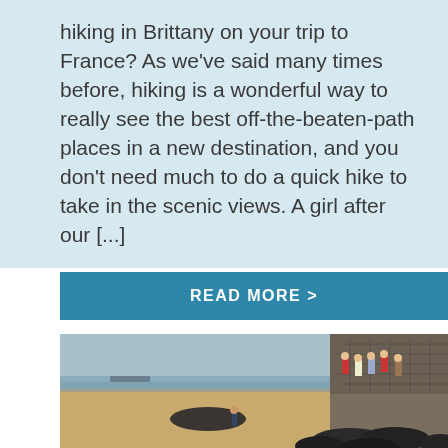hiking in Brittany on your trip to France? As we've said many times before, hiking is a wonderful way to really see the best off-the-beaten-path places in a new destination, and you don't need much to do a quick hike to take in the scenic views. A girl after our [...]
READ MORE >
[Figure (photo): A beach scene with a stone pier or seawall. Several people stand on top of the stone wall on the right side. A lone person walks on the sandy beach in the middle distance. Large dark rocks are piled at the base of the wall. The sea and cloudy sky are visible in the background.]